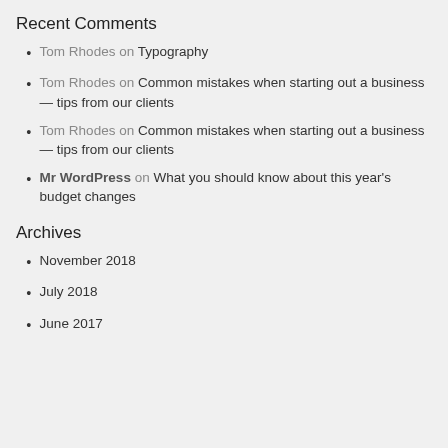Recent Comments
Tom Rhodes on Typography
Tom Rhodes on Common mistakes when starting out a business — tips from our clients
Tom Rhodes on Common mistakes when starting out a business — tips from our clients
Mr WordPress on What you should know about this year's budget changes
Archives
November 2018
July 2018
June 2017